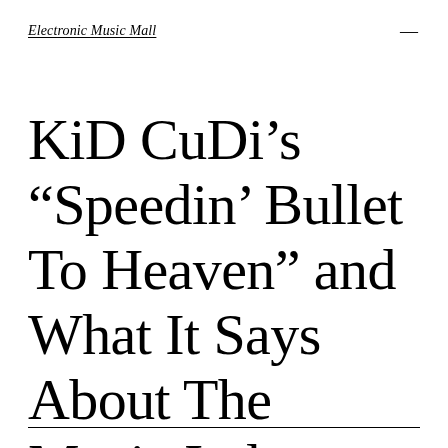Electronic Music Mall
KiD CuDi’s “Speedin’ Bullet To Heaven” and What It Says About The Music Industry